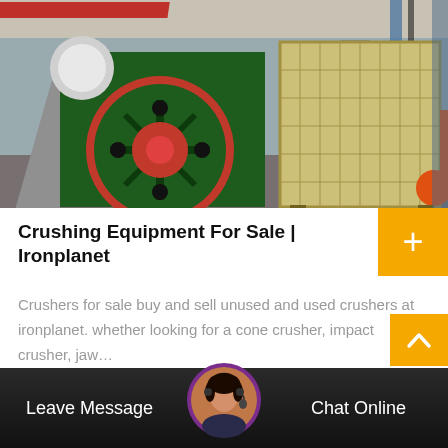[Figure (photo): Industrial crushing equipment in a factory. Left: large green jaw crusher with red flywheel. Right: tan/beige impact crusher. Factory interior with overhead crane beams visible.]
Crushing Equipment For Sale | Ironplanet
Crushers for sale buy and sell unused and used crushers at ironplanet. whether looking for a cone crusher, impact crusher, jaw…
Leave Message  Chat Online